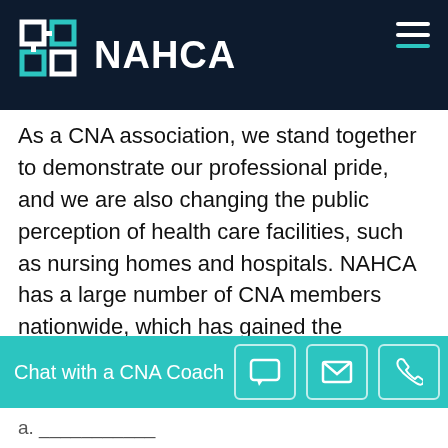NAHCA
As a CNA association, we stand together to demonstrate our professional pride, and we are also changing the public perception of health care facilities, such as nursing homes and hospitals. NAHCA has a large number of CNA members nationwide, which has gained the attention of many companies who have partnered with them, to honor its members with discounts on products and services! The work NAHCA does each and every day to improve both the personal and professional lives of our members is very important.
Chat with a CNA Coach